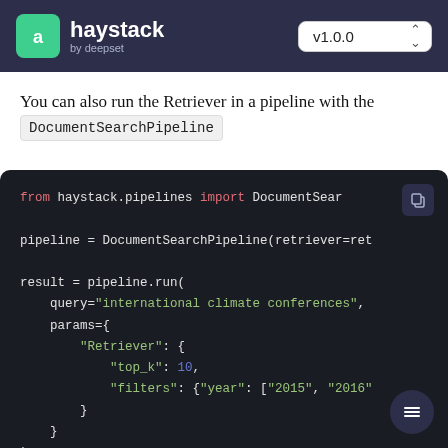haystack by deepset v1.0.0
You can also run the Retriever in a pipeline with the DocumentSearchPipeline
[Figure (screenshot): Code block showing Python code: from haystack.pipelines import DocumentSearchPipeline; pipeline = DocumentSearchPipeline(retriever=ret; result = pipeline.run( query="international climate conferences", params={ "Retriever": { "top_k": 10, "filters": {"year": ["2015", "2016" } } )]